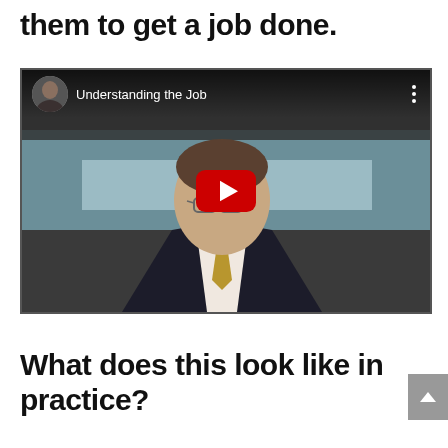them to get a job done.
[Figure (screenshot): YouTube video embed thumbnail showing a man in a dark suit with glasses and gold tie, with a blue water background. Video title reads 'Understanding the Job'. Red YouTube play button in center.]
What does this look like in practice?